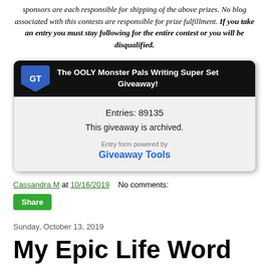sponsors are each responsible for shipping of the above prizes. No blog associated with this contests are responsible for prize fulfillment. If you take an entry you must stay following for the entire contest or you will be disqualified.
[Figure (screenshot): Giveaway Tools widget showing 'The OOLY Monster Pals Writing Super Set Giveaway!' with Entries: 89135 and 'This giveaway is archived.' message, powered by Giveaway Tools]
Cassandra M at 10/16/2019   No comments:
Share
Sunday, October 13, 2019
My Epic Life Word